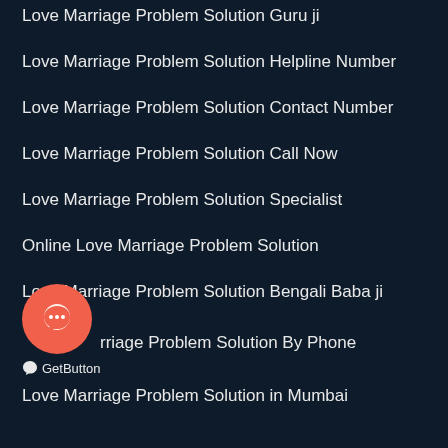Love Marriage Problem Solution Guru ji
Love Marriage Problem Solution Helpline Number
Love Marriage Problem Solution Contact Number
Love Marriage Problem Solution Call Now
Love Marriage Problem Solution Specialist
Online Love Marriage Problem Solution
Love Marriage Problem Solution Bengali Baba ji
Love Marriage Problem Solution By Phone
[Figure (illustration): Orange circular chat/message button icon with speech bubble symbol]
GetButton
Love Marriage Problem Solution in Mumbai